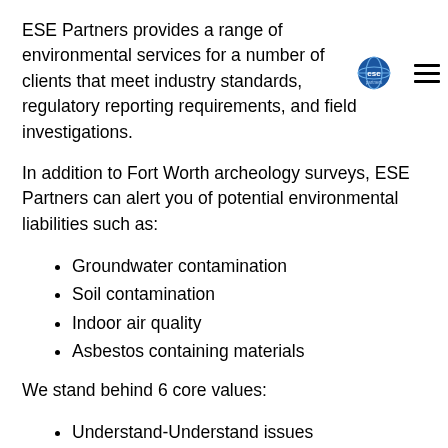ESE Partners provides a range of environmental services for a number of clients that meet industry standards, regulatory reporting requirements, and field investigations.
[Figure (logo): ESE Partners logo — blue globe with 'ese partners' text, and a hamburger menu icon]
In addition to Fort Worth archeology surveys, ESE Partners can alert you of potential environmental liabilities such as:
Groundwater contamination
Soil contamination
Indoor air quality
Asbestos containing materials
We stand behind 6 core values:
Understand-Understand issues
Deliver-Exceed expectations
Innovate-Design solutions
Quality-Highest quality
People-Qualified team